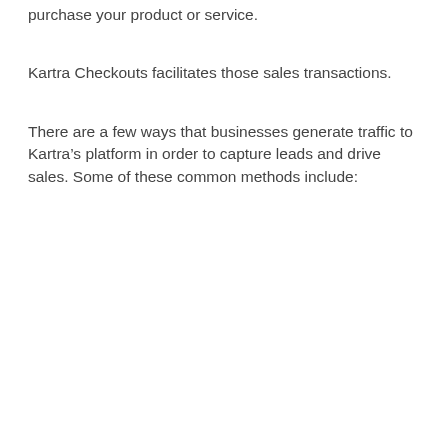purchase your product or service.
Kartra Checkouts facilitates those sales transactions.
There are a few ways that businesses generate traffic to Kartra’s platform in order to capture leads and drive sales. Some of these common methods include: